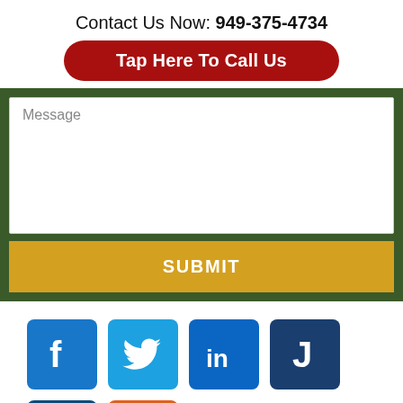Contact Us Now: 949-375-4734
Tap Here To Call Us
Message
SUBMIT
[Figure (infographic): Social media icons: Facebook, Twitter, LinkedIn, Justia (J), Avvo (A), RSS feed]